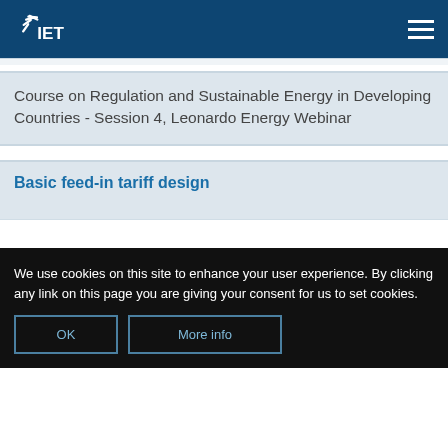IET
Course on Regulation and Sustainable Energy in Developing Countries - Session 4, Leonardo Energy Webinar
Basic feed-in tariff design
We use cookies on this site to enhance your user experience. By clicking any link on this page you are giving your consent for us to set cookies.
OK | More info